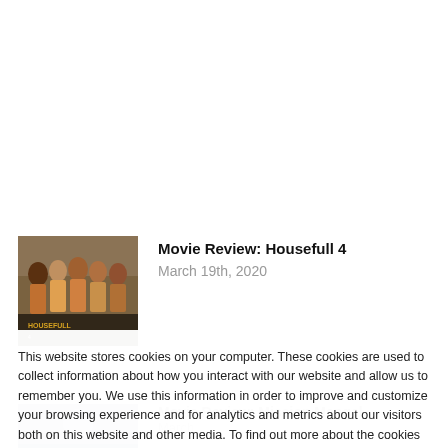[Figure (photo): Thumbnail image for Housefull 4 movie review showing cast members]
Movie Review: Housefull 4
March 19th, 2020
This website stores cookies on your computer. These cookies are used to collect information about how you interact with our website and allow us to remember you. We use this information in order to improve and customize your browsing experience and for analytics and metrics about our visitors both on this website and other media. To find out more about the cookies we use, see our Privacy Policy.
[Figure (photo): Partially visible thumbnail for Mission Mangal movie review]
Movie Review: Mission Mangal